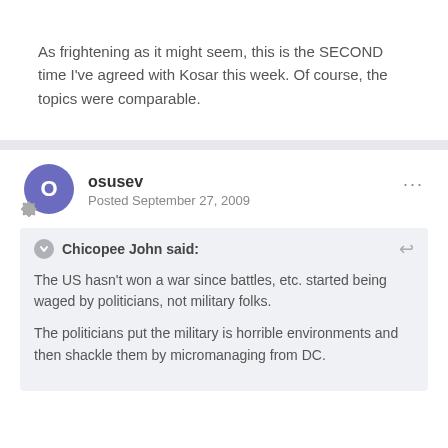As frightening as it might seem, this is the SECOND time I've agreed with Kosar this week. Of course, the topics were comparable.
osusev
Posted September 27, 2009
Chicopee John said:
The US hasn't won a war since battles, etc. started being waged by politicians, not military folks.
The politicians put the military is horrible environments and then shackle them by micromanaging from DC.